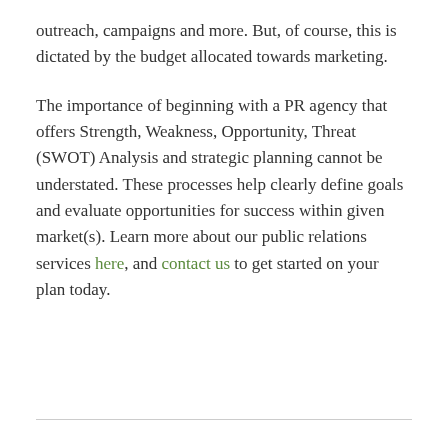outreach, campaigns and more. But, of course, this is dictated by the budget allocated towards marketing.
The importance of beginning with a PR agency that offers Strength, Weakness, Opportunity, Threat (SWOT) Analysis and strategic planning cannot be understated. These processes help clearly define goals and evaluate opportunities for success within given market(s). Learn more about our public relations services here, and contact us to get started on your plan today.